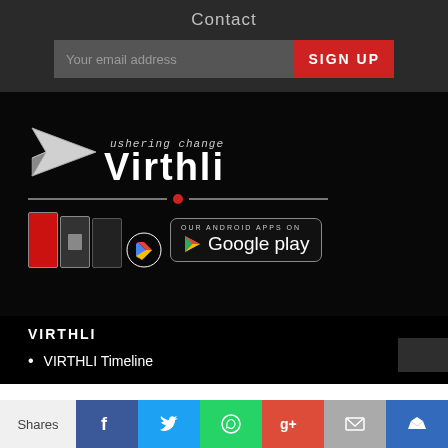Contact
Your email address
SIGN UP
[Figure (logo): Virthli logo with paper plane icon, text 'ushering change' above 'Virthli' in bold, with a horizontal divider line and red dot, plus app screenshots and Google Play badge]
VIRTHLI
VIRTHLI Timeline
Shares